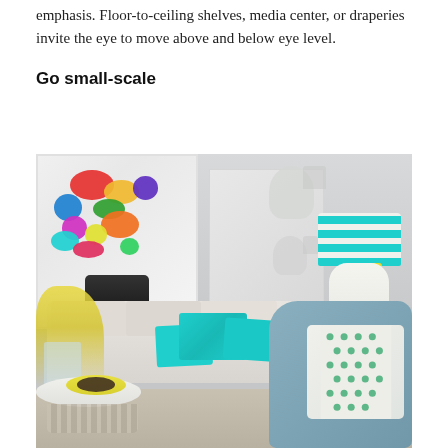emphasis. Floor-to-ceiling shelves, media center, or draperies invite the eye to move above and below eye level.
Go small-scale
[Figure (photo): Interior design photo of a modern living room featuring a colorful giraffe artwork on the left wall, white deer head wall sculptures, a teal/turquoise chevron-patterned lamp shade on a white cockatoo lamp base, a beige sofa with teal patterned cushions, yellow flower arrangement in a glass vase, a yellow bowl on a round coffee table, and a blue velvet chair with a dotted green-and-white cushion in the foreground right.]